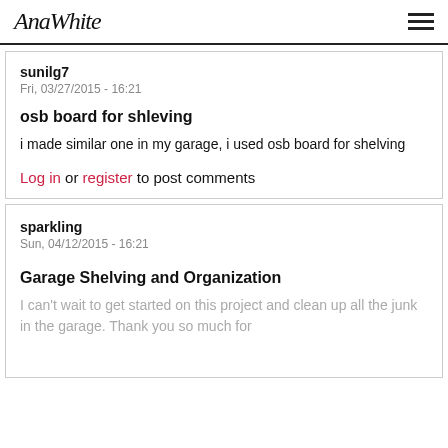AnaWhite
sunilg7
Fri, 03/27/2015 - 16:21
osb board for shleving
i made similar one in my garage, i used osb board for shelving
Log in or register to post comments
sparkling
Sun, 04/12/2015 - 16:21
Garage Shelving and Organization
I can't wait to get started on this project and clean up all the junk in the garage. Thank you so much for